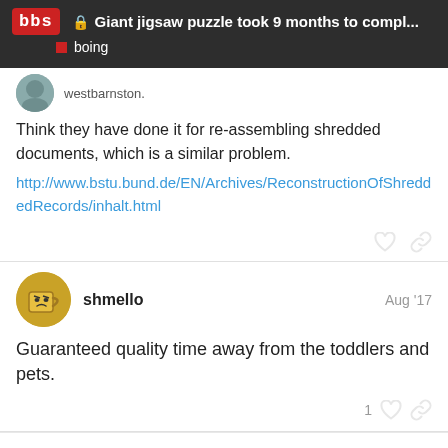Giant jigsaw puzzle took 9 months to compl... | boing
westbarnston.
Think they have done it for re-assembling shredded documents, which is a similar problem.
http://www.bstu.bund.de/EN/Archives/ReconstructionOfShreddedRecords/inhalt.html
shmello  Aug '17
Guaranteed quality time away from the toddlers and pets.
CLOSED ON AUG 27, '17